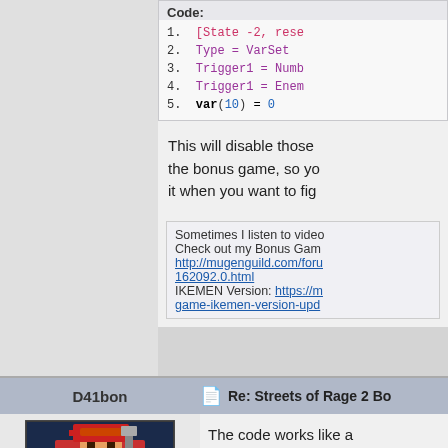Code:
1. [State -2, rese
2. Type = VarSet
3. Trigger1 = NumB
4. Trigger1 = Enem
5. var(10) = 0
This will disable those the bonus game, so yo it when you want to fig
Sometimes I listen to video Check out my Bonus Gam http://mugenguild.com/foru 162092.0.html IKEMEN Version: https://m game-ikemen-version-upd
D41bon   Re: Streets of Rage 2 Bo
[Figure (illustration): Pixel art avatar of a character named SAKI with stats showing BP 600, SP +7]
The code works like a keep up the good MUC